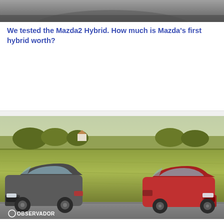[Figure (photo): Top portion of a car image, cropped — dark colored vehicle top visible]
We tested the Mazda2 Hybrid. How much is Mazda's first hybrid worth?
[Figure (photo): Two Mazda cars — a dark grey Mazda3 hatchback on the left and a red Mazda CX-30 SUV on the right — driving on a rural road with green fields and trees in the background. OBSERVADOR logo in the bottom-left corner.]
Mazda attacks 2022 with small and big changes – Spectator